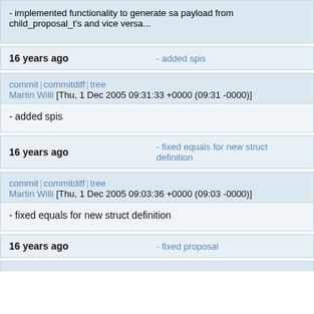- implemented functionality to generate sa payload from child_proposal_t's and vice versa...
16 years ago    - added spis
commit | commitdiff | tree
Martin Willi [Thu, 1 Dec 2005 09:31:33 +0000 (09:31 -0000)]
- added spis
16 years ago    - fixed equals for new struct definition
commit | commitdiff | tree
Martin Willi [Thu, 1 Dec 2005 09:03:36 +0000 (09:03 -0000)]
- fixed equals for new struct definition
16 years ago    - fixed proposal